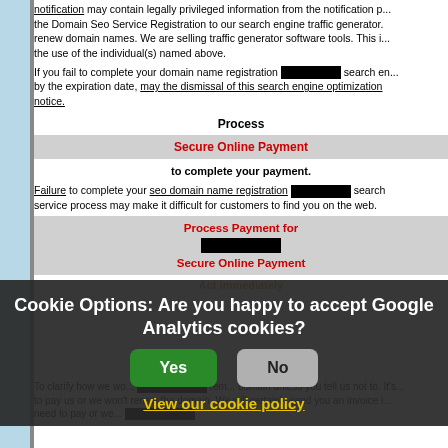notification may contain legally privileged information from the notification p... the Domain Seo Service Registration to our search engine traffic generator. renew domain names. We are selling traffic generator software tools. This i... the use of the individual(s) named above.
If you fail to complete your domain name registration [REDACTED] search en... by the expiration date, may the dismissal of this search engine optimization notice.
Process
Secure Online Payment
to complete your payment.
Failure to complete your seo domain name registration [REDACTED] search service process may make it difficult for customers to find you on the web.
Process Payment for [REDACTED] Secure Online Payment
Act immediately
Cookie Options: Are you happy to accept Google Analytics cookies?
Yes | No
View our cookie policy
To clarify how we wo... rem... domain unless you tell us not to. It's... to pay us or we won't renew the domain. We will certainly send you an invoice i... need to pay or we...